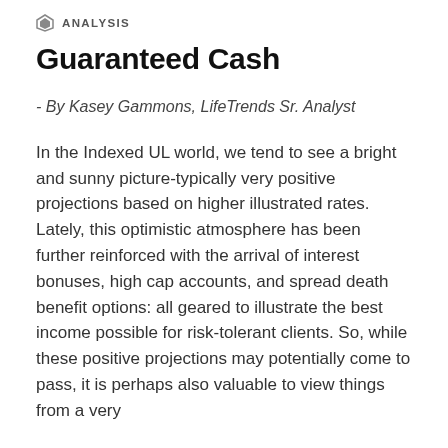ANALYSIS
Guaranteed Cash
- By Kasey Gammons, LifeTrends Sr. Analyst
In the Indexed UL world, we tend to see a bright and sunny picture-typically very positive projections based on higher illustrated rates. Lately, this optimistic atmosphere has been further reinforced with the arrival of interest bonuses, high cap accounts, and spread death benefit options: all geared to illustrate the best income possible for risk-tolerant clients. So, while these positive projections may potentially come to pass, it is perhaps also valuable to view things from a very